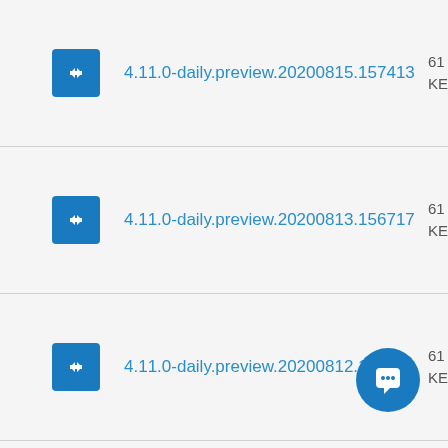4.11.0-daily.preview.20200815.157413
4.11.0-daily.preview.20200813.156717
4.11.0-daily.preview.20200812.156580